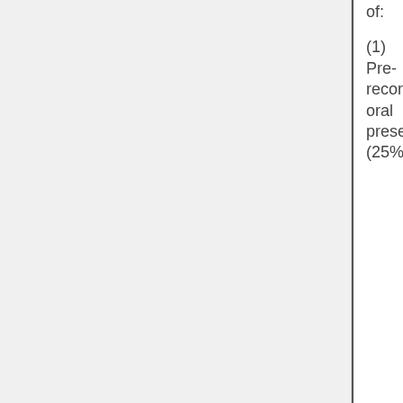of:
(1) Pre-recorded oral presentations (25%)
Student will pre-record 2 ZOOM presentations based on papers assigned from the schedule below
(2) Class discussion (30%)
At scheduled class times students will